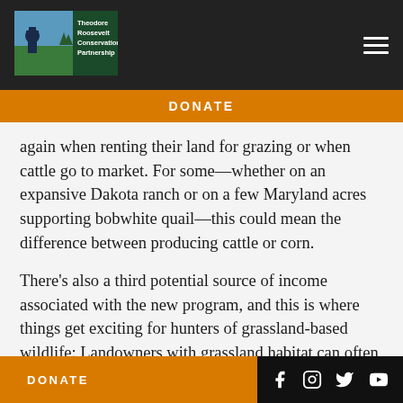[Figure (logo): Theodore Roosevelt Conservation Partnership logo with bison and mountains on green/blue background]
DONATE
again when renting their land for grazing or when cattle go to market. For some—whether on an expansive Dakota ranch or on a few Maryland acres supporting bobwhite quail—this could mean the difference between producing cattle or corn.
There's also a third potential source of income associated with the new program, and this is where things get exciting for hunters of grassland-based wildlife: Landowners with grassland habitat can often open their properties for recreation, bringing economic benefits to their local communities in the
DONATE